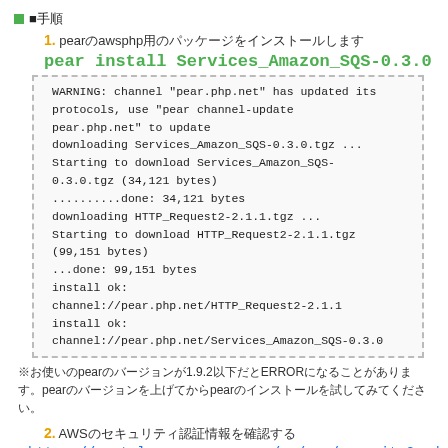■手順
1. pearのaws php用のパッケージをインストールします
pear install Services_Amazon_SQS-0.3.0
WARNING: channel "pear.php.net" has updated its protocols, use "pear channel-update pear.php.net" to update
downloading Services_Amazon_SQS-0.3.0.tgz ...
Starting to download Services_Amazon_SQS-0.3.0.tgz (34,121 bytes)
..........done: 34,121 bytes
downloading HTTP_Request2-2.1.1.tgz ...
Starting to download HTTP_Request2-2.1.1.tgz (99,151 bytes)
...done: 99,151 bytes
install ok:
channel://pear.php.net/HTTP_Request2-2.1.1
install ok:
channel://pear.php.net/Services_Amazon_SQS-0.3.0
※お使いのpearのバージョンが1.9.2以下だとERRORになることがあります。pearのバージョンを上げてからpearのインストールを試してみてください。
2. AWSのセキュリティ認証情報を確認する
https://portal.aws.amazon.com/gp/aws/securityCredenti